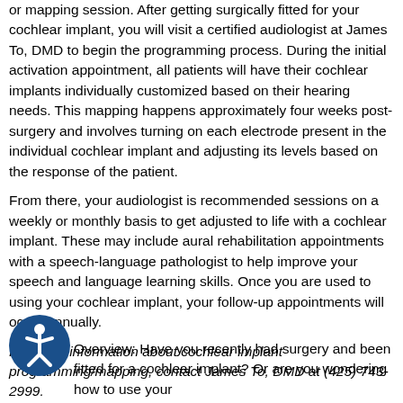or mapping session. After getting surgically fitted for your cochlear implant, you will visit a certified audiologist at James To, DMD to begin the programming process. During the initial activation appointment, all patients will have their cochlear implants individually customized based on their hearing needs. This mapping happens approximately four weeks post-surgery and involves turning on each electrode present in the individual cochlear implant and adjusting its levels based on the response of the patient.
From there, your audiologist is recommended sessions on a weekly or monthly basis to get adjusted to life with a cochlear implant. These may include aural rehabilitation appointments with a speech-language pathologist to help improve your speech and language learning skills. Once you are used to using your cochlear implant, your follow-up appointments will occur annually.
For more information about cochlear implant programming/mapping, contact James To, DMD at (425) 743-2999.
Cochlear Implant Mapping/Programming
Category: Cochlear Implant Programming Mapping
Overview: Have you recently had surgery and been fitted for a cochlear implant? Or are you wondering how to use your